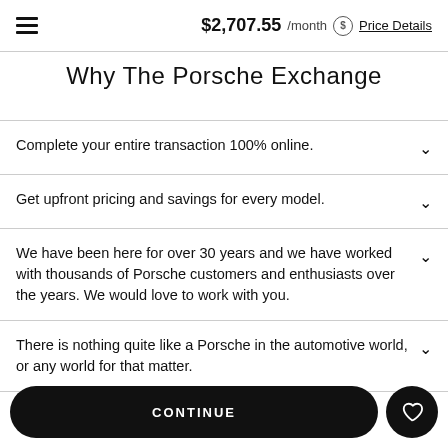$2,707.55 /month Price Details
Why The Porsche Exchange
Complete your entire transaction 100% online.
Get upfront pricing and savings for every model.
We have been here for over 30 years and we have worked with thousands of Porsche customers and enthusiasts over the years. We would love to work with you.
There is nothing quite like a Porsche in the automotive world, or any world for that matter.
CONTINUE